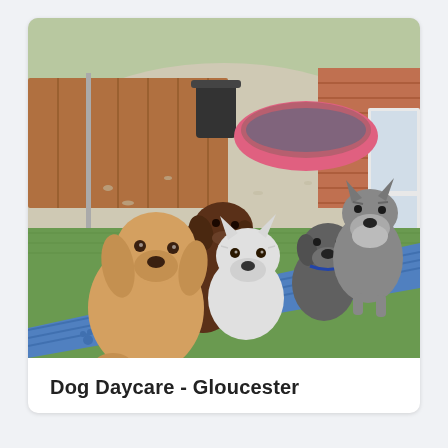[Figure (photo): Five dogs of various breeds and colours posed on a blue ramp/agility board in an outdoor yard with artificial grass, gravel, a pink paddling pool, a wood-panel fence, and brick wall in the background.]
Dog Daycare - Gloucester